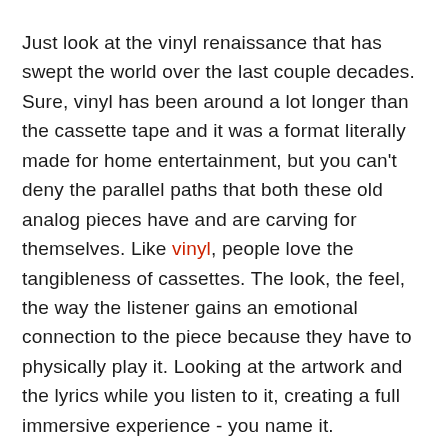Just look at the vinyl renaissance that has swept the world over the last couple decades. Sure, vinyl has been around a lot longer than the cassette tape and it was a format literally made for home entertainment, but you can't deny the parallel paths that both these old analog pieces have and are carving for themselves. Like vinyl, people love the tangibleness of cassettes. The look, the feel, the way the listener gains an emotional connection to the piece because they have to physically play it. Looking at the artwork and the lyrics while you listen to it, creating a full immersive experience - you name it.